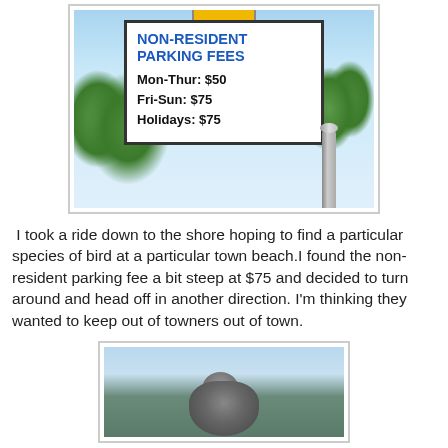[Figure (photo): Photo of a parking sign reading NON-RESIDENT PARKING FEES: Mon-Thur: $50, Fri-Sun: $75, Holidays: $75. Sign is white with blue title text, surrounded by trees and a red parking post.]
I took a ride down to the shore hoping to find a particular species of bird at a particular town beach.I found the non-resident parking fee a bit steep at $75 and decided to turn around and head off in another direction. I'm thinking they wanted to keep out of towners out of town.
[Figure (photo): Close-up photo of a bird (appears to be a jay or similar species) perched among foliage with a blurred background.]